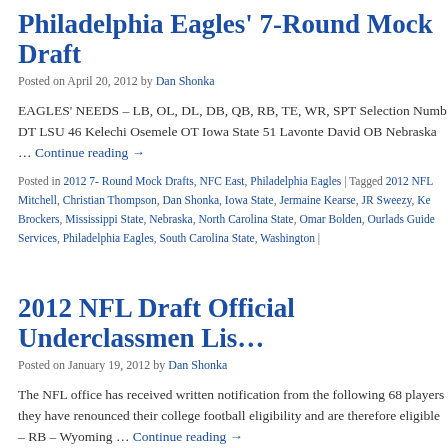Philadelphia Eagles’ 7-Round Mock Draft
Posted on April 20, 2012 by Dan Shonka
EAGLES’ NEEDS – LB, OL, DL, DB, QB, RB, TE, WR, SPT Selection Numb DT LSU 46 Kelechi Osemele OT Iowa State 51 Lavonte David OB Nebraska … Continue reading →
Posted in 2012 7- Round Mock Drafts, NFC East, Philadelphia Eagles | Tagged 2012 NFL Mitchell, Christian Thompson, Dan Shonka, Iowa State, Jermaine Kearse, JR Sweezy, Ke Brockers, Mississippi State, Nebraska, North Carolina State, Omar Bolden, Ourlads Guide Services, Philadelphia Eagles, South Carolina State, Washington |
2012 NFL Draft Official Underclassmen Li…
Posted on January 19, 2012 by Dan Shonka
The NFL office has received written notification from the following 68 players they have renounced their college football eligibility and are therefore eligible – RB – Wyoming … Continue reading →